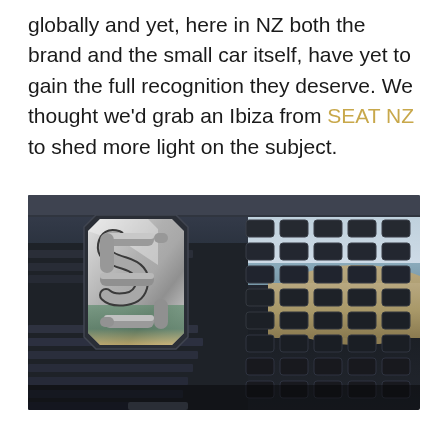globally and yet, here in NZ both the brand and the small car itself, have yet to gain the full recognition they deserve. We thought we'd grab an Ibiza from SEAT NZ to shed more light on the subject.
[Figure (photo): Close-up photo of a SEAT car's chrome S logo badge on the front grille, with a beach scene (sea, sky, sand) visible in the background and reflected in the shiny badge. The grille has dark hexagonal cell pattern.]
...